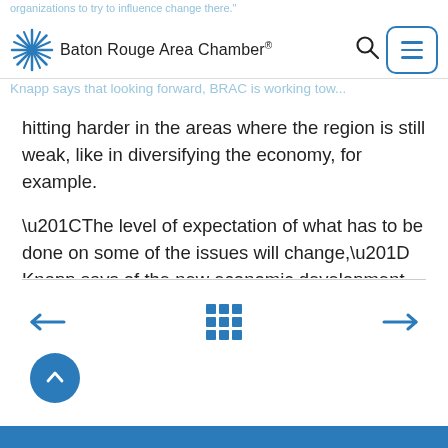organizations to try to influence change there. | Baton Rouge Area Chamber. | Knapp says that looking forward, BRAC is working toward...
hitting harder in the areas where the region is still weak, like in diversifying the economy, for example.
“The level of expectation of what has to be done on some of the issues will change,” Knapp says of the new economic development plan. “Ten years later the things that are still holding us back, we’ve got to really move the needle on this next time, while also continuing to do the things that work well.”
Navigation arrows: left, grid, right. Scroll-to-top button. Blue footer bar.